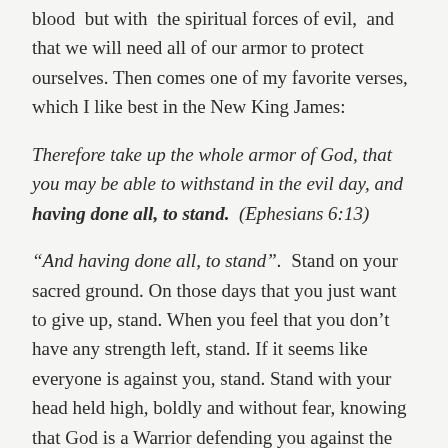blood  but with  the spiritual forces of evil,  and that we will need all of our armor to protect ourselves. Then comes one of my favorite verses, which I like best in the New King James:
Therefore take up the whole armor of God, that you may be able to withstand in the evil day, and having done all, to stand.  (Ephesians 6:13)
“And having done all, to stand”.  Stand on your sacred ground. On those days that you just want to give up, stand. When you feel that you don’t have any strength left, stand. If it seems like everyone is against you, stand. Stand with your head held high, boldly and without fear, knowing that God is a Warrior defending you against the